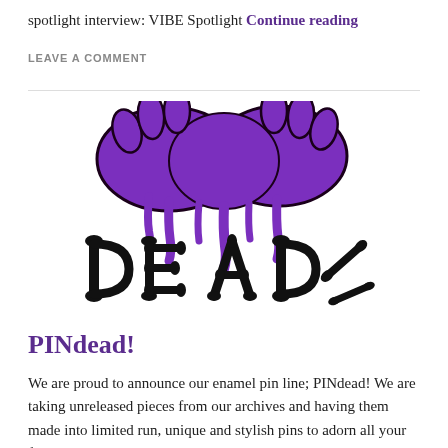spotlight interview: VIBE Spotlight Continue reading
LEAVE A COMMENT
[Figure (logo): PINdead logo: purple dripping zombie hands above black bones arranged as letters spelling DEAD]
PINdead!
We are proud to announce our enamel pin line; PINdead! We are taking unreleased pieces from our archives and having them made into limited run, unique and stylish pins to adorn all your fine denims with. The debut pin in